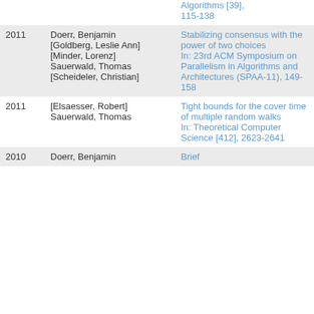| Year | Author | Title | Type |
| --- | --- | --- | --- |
|  |  | Algorithms [39], 115-138 |  |
| 2011 | Doerr, Benjamin
[Goldberg, Leslie Ann]
[Minder, Lorenz]
Sauerwald, Thomas
[Scheideler, Christian] | Stabilizing consensus with the power of two choices
In: 23rd ACM Symposium on Parallelism in Algorithms and Architectures (SPAA-11), 149-158 | Proceedings Article |
| 2011 | [Elsaesser, Robert]
Sauerwald, Thomas | Tight bounds for the cover time of multiple random walks
In: Theoretical Computer Science [412], 2623-2641 | Journal Article |
| 2010 | Doerr, Benjamin | Brief | Proceedings |